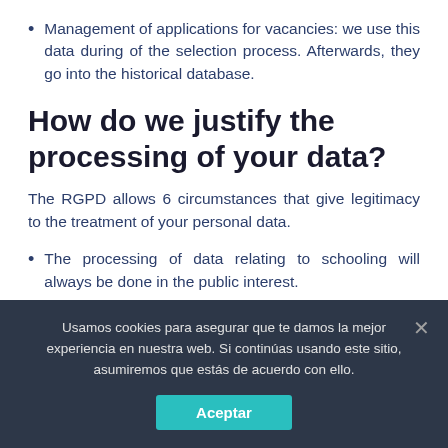Management of applications for vacancies: we use this data during of the selection process. Afterwards, they go into the historical database.
How do we justify the processing of your data?
The RGPD allows 6 circumstances that give legitimacy to the treatment of your personal data.
The processing of data relating to schooling will always be done in the public interest.
The handling carried out to process requests for
Usamos cookies para asegurar que te damos la mejor experiencia en nuestra web. Si continúas usando este sitio, asumiremos que estás de acuerdo con ello.
Aceptar